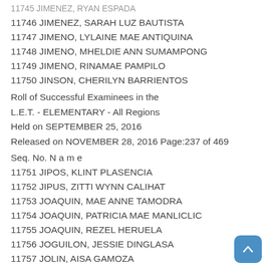11745 JIMENEZ, RYAN ESPADA
11746 JIMENEZ, SARAH LUZ BAUTISTA
11747 JIMENO, LYLAINE MAE ANTIQUINA
11748 JIMENO, MHELDIE ANN SUMAMPONG
11749 JIMENO, RINAMAE PAMPILO
11750 JINSON, CHERILYN BARRIENTOS
Roll of Successful Examinees in the L.E.T. - ELEMENTARY - All Regions Held on SEPTEMBER 25, 2016 Released on NOVEMBER 28, 2016 Page:237 of 469
Seq. No. N a m e
11751 JIPOS, KLINT PLASENCIA
11752 JIPUS, ZITTI WYNN CALIHAT
11753 JOAQUIN, MAE ANNE TAMODRA
11754 JOAQUIN, PATRICIA MAE MANLICLIC
11755 JOAQUIN, REZEL HERUELA
11756 JOGUILON, JESSIE DINGLASA
11757 JOLIN, AISA GAMOZA
11758 JOLO, JESSA JUNE SEGUIBAN
11759 JOMEN, MAR JOHN VIGOR
11760 JOMOC, VIVIAN MACARAYO